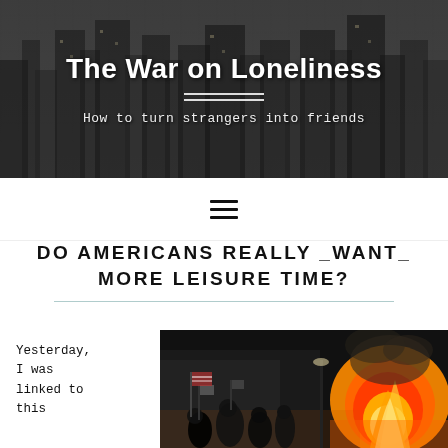The War on Loneliness
How to turn strangers into friends
DO AMERICANS REALLY _WANT_ MORE LEISURE TIME?
Yesterday, I was linked to this
[Figure (photo): Night protest scene with people holding flags and a large fire burning on the right side]